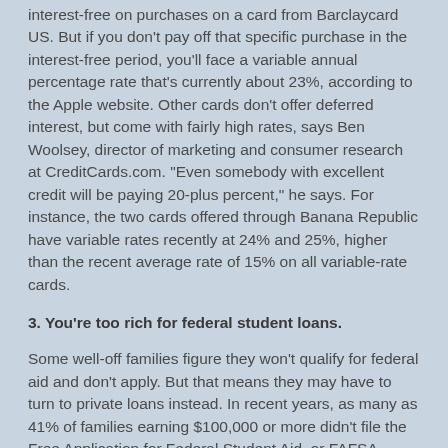interest-free on purchases on a card from Barclaycard US. But if you don't pay off that specific purchase in the interest-free period, you'll face a variable annual percentage rate that's currently about 23%, according to the Apple website. Other cards don't offer deferred interest, but come with fairly high rates, says Ben Woolsey, director of marketing and consumer research at CreditCards.com. "Even somebody with excellent credit will be paying 20-plus percent," he says. For instance, the two cards offered through Banana Republic have variable rates recently at 24% and 25%, higher than the recent average rate of 15% on all variable-rate cards.
3. You're too rich for federal student loans.
Some well-off families figure they won't qualify for federal aid and don't apply. But that means they may have to turn to private loans instead. In recent years, as many as 41% of families earning $100,000 or more didn't file the Free Application for Federal Student Aid, or FAFSA, which is necessary to land federal loans, according to a Sallie Mae survey.